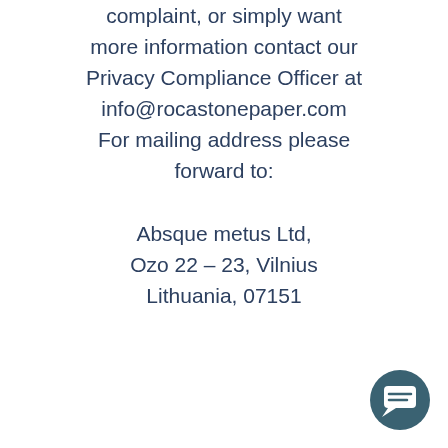complaint, or simply want more information contact our Privacy Compliance Officer at info@rocastonepaper.com For mailing address please forward to: Absque metus Ltd, Ozo 22 – 23, Vilnius Lithuania, 07151
[Figure (other): Dark teal circular chat/message button icon in the bottom-right corner]